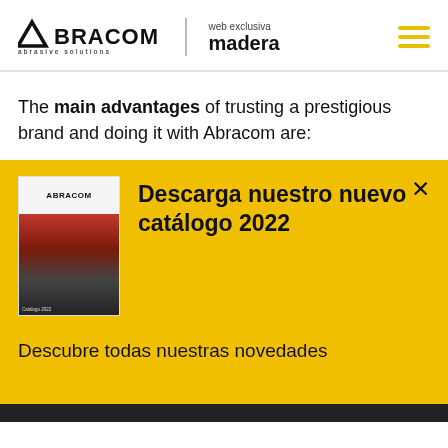ABRACOM abrasive solutions | web exclusiva madera
The main advantages of trusting a prestigious brand and doing it with Abracom are:
[Figure (screenshot): Yellow promotional banner with catalog image on the left and bold text 'Descarga nuestro nuevo catálogo 2022' on the right, with a close X button in the top right corner]
Descubre todas nuestras novedades